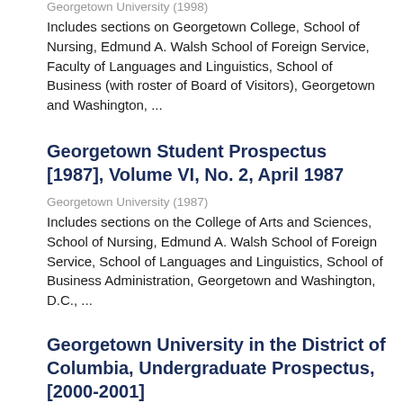Georgetown University (1998)
Includes sections on Georgetown College, School of Nursing, Edmund A. Walsh School of Foreign Service, Faculty of Languages and Linguistics, School of Business (with roster of Board of Visitors), Georgetown and Washington, ...
Georgetown Student Prospectus [1987], Volume VI, No. 2, April 1987
Georgetown University (1987)
Includes sections on the College of Arts and Sciences, School of Nursing, Edmund A. Walsh School of Foreign Service, School of Languages and Linguistics, School of Business Administration, Georgetown and Washington, D.C., ...
Georgetown University in the District of Columbia, Undergraduate Prospectus, [2000-2001]